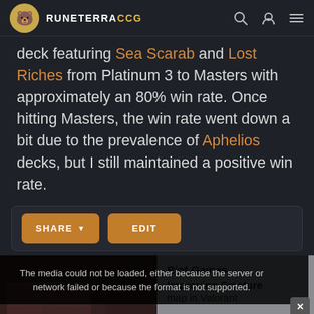RUNETERRACCG
deck featuring Sea Scarab and Lost Riches from Platinum 3 to Masters with approximately an 80% win rate. Once hitting Masters, the win rate went down a bit due to the prevalence of Aphelios decks, but I still maintained a positive win rate.
[Figure (screenshot): Share and Edit buttons bar]
[Figure (screenshot): Video player showing error: The media could not be loaded, either because the server or network failed or because the format is not supported. Riot Games Improving Fracture map in Valorant overlay visible.]
Regions    Types